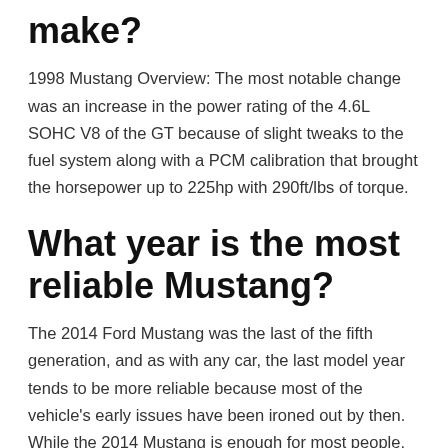make?
1998 Mustang Overview: The most notable change was an increase in the power rating of the 4.6L SOHC V8 of the GT because of slight tweaks to the fuel system along with a PCM calibration that brought the horsepower up to 225hp with 290ft/lbs of torque.
What year is the most reliable Mustang?
The 2014 Ford Mustang was the last of the fifth generation, and as with any car, the last model year tends to be more reliable because most of the vehicle's early issues have been ironed out by then. While the 2014 Mustang is enough for most people, car buyers looking for the latest gadgetry will be disappointed.